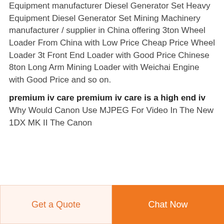Equipment manufacturer Diesel Generator Set Heavy Equipment Diesel Generator Set Mining Machinery manufacturer / supplier in China offering 3ton Wheel Loader From China with Low Price Cheap Price Wheel Loader 3t Front End Loader with Good Price Chinese 8ton Long Arm Mining Loader with Weichai Engine with Good Price and so on.
premium iv care premium iv care is a high end iv
Why Would Canon Use MJPEG For Video In The New 1DX MK II The Canon
Get a Quote
Chat Now